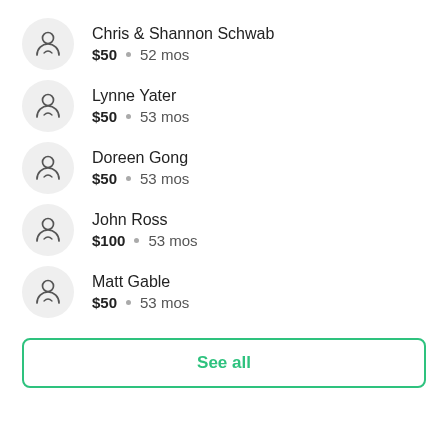Chris & Shannon Schwab — $50 • 52 mos
Lynne Yater — $50 • 53 mos
Doreen Gong — $50 • 53 mos
John Ross — $100 • 53 mos
Matt Gable — $50 • 53 mos
See all